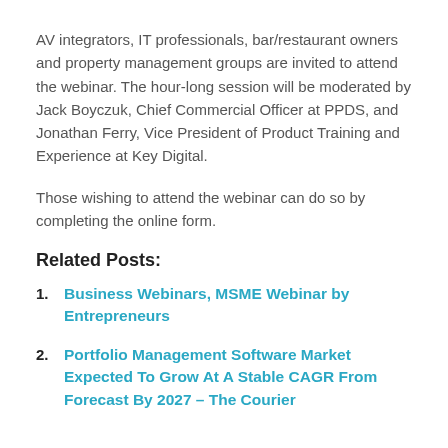AV integrators, IT professionals, bar/restaurant owners and property management groups are invited to attend the webinar. The hour-long session will be moderated by Jack Boyczuk, Chief Commercial Officer at PPDS, and Jonathan Ferry, Vice President of Product Training and Experience at Key Digital.
Those wishing to attend the webinar can do so by completing the online form.
Related Posts:
Business Webinars, MSME Webinar by Entrepreneurs
Portfolio Management Software Market Expected To Grow At A Stable CAGR From Forecast By 2027 – The Courier